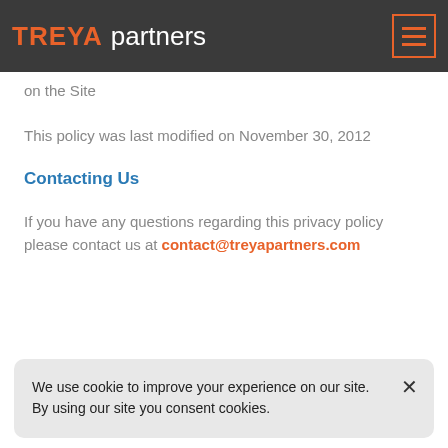TREYA partners
on the Site
This policy was last modified on November 30, 2012
Contacting Us
If you have any questions regarding this privacy policy please contact us at contact@treyapartners.com
We use cookie to improve your experience on our site. By using our site you consent cookies.